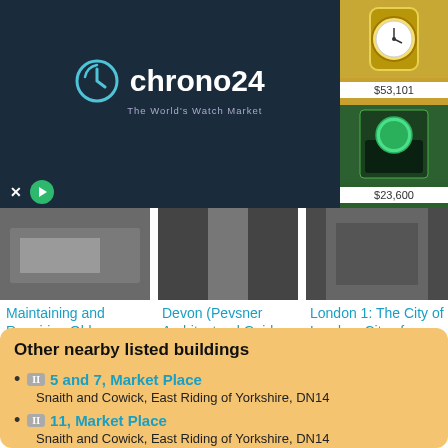[Figure (other): Chrono24 advertisement banner with logo on dark background and watch product images with prices: $53,101, $27,500, $23,600, $15,650]
[Figure (photo): Thumbnail of building/house for 'Maintaining and Repairing Old Houses']
Maintaining and Repairing Old Houses: A Guide to Conservation, Sustainability and Economy
[Figure (photo): Thumbnail of a passageway/archway for Devon Pevsner Architectural Guides]
Devon (Pevsner Architectural Guides: Buildings of England)
[Figure (photo): Thumbnail of a London street for London 1: The City of London]
London 1: The City of London: City of London v. 1 (Pevsner Architectural Guides: Buildings of England)
Other nearby listed buildings
II  5 and 7, Market Place
Snaith and Cowick, East Riding of Yorkshire, DN14
II  11, Market Place
Snaith and Cowick, East Riding of Yorkshire, DN14